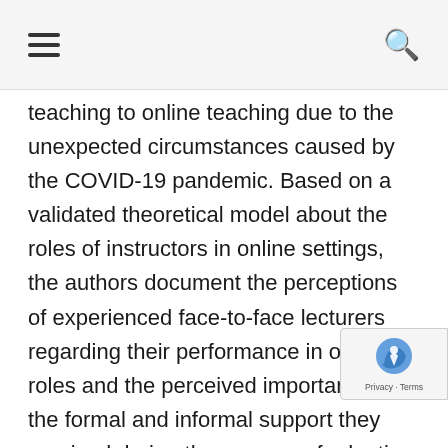≡   🔍
teaching to online teaching due to the unexpected circumstances caused by the COVID-19 pandemic. Based on a validated theoretical model about the roles of instructors in online settings, the authors document the perceptions of experienced face-to-face lecturers regarding their performance in online roles and the perceived importance of the formal and informal support they received during the process of adapting to a sudden online context. The study was based on the Q-sort methodology. Among other conclusions, our research reveals that the best performance we elicited pertained to the technical role, followed by the managerial role and the support received through informal channels. Worryingly, the worst performance